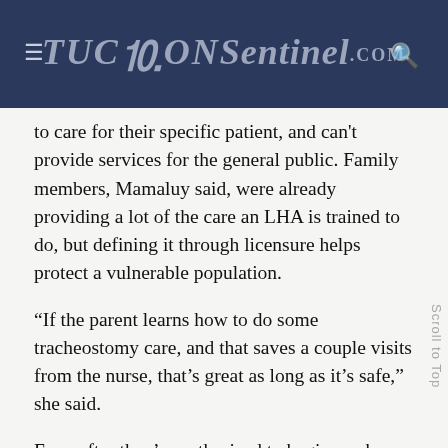TucSon Sentinel.com
to care for their specific patient, and can't provide services for the general public. Family members, Mamaluy said, were already providing a lot of the care an LHA is trained to do, but defining it through licensure helps protect a vulnerable population.
“If the parent learns how to do some tracheostomy care, and that saves a couple visits from the nurse, that’s great as long as it’s safe,” she said.
Even after they’re authorized to begin work, LHAs are subject to periodic supervisory visits from registered nurses, and their license must be renewed every four years.
Four health agencies in the state are certified to provide LHA training. Team Select’s program is up and running,